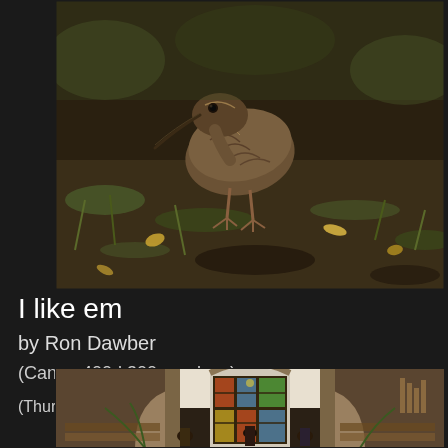[Figure (photo): A brown bird (appears to be a turnstone or similar shorebird) foraging on the ground among grass, stones, and leaf litter. Close-up wildlife photography.]
I like em
by Ron Dawber
(Canon 400d 300 mm lens)
(Thursday, 9th February, 2012)
[Figure (photo): Interior of a church showing a grand stained glass window at the far end, stone architecture, wooden pews, and several people visible inside.]